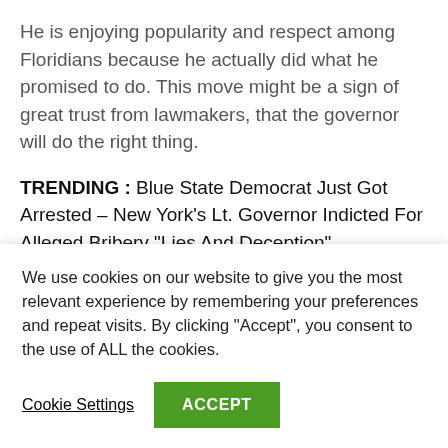He is enjoying popularity and respect among Floridians because he actually did what he promised to do. This move might be a sign of great trust from lawmakers, that the governor will do the right thing.
TRENDING : Blue State Democrat Just Got Arrested – New York's Lt. Governor Indicted For Alleged Bribery “Lies And Deception”
We use cookies on our website to give you the most relevant experience by remembering your preferences and repeat visits. By clicking “Accept”, you consent to the use of ALL the cookies.
Cookie Settings
ACCEPT